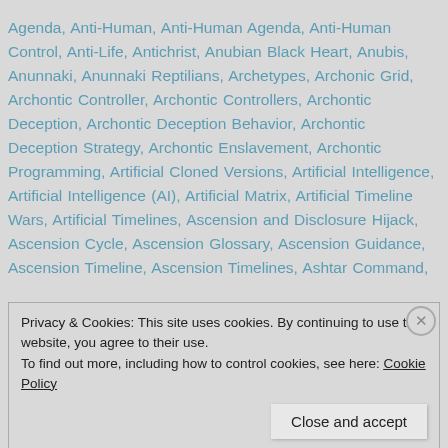Agenda, Anti-Human, Anti-Human Agenda, Anti-Human Control, Anti-Life, Antichrist, Anubian Black Heart, Anubis, Anunnaki, Anunnaki Reptilians, Archetypes, Archonic Grid, Archontic Controller, Archontic Controllers, Archontic Deception, Archontic Deception Behavior, Archontic Deception Strategy, Archontic Enslavement, Archontic Programming, Artificial Cloned Versions, Artificial Intelligence, Artificial Intelligence (AI), Artificial Matrix, Artificial Timeline Wars, Artificial Timelines, Ascension and Disclosure Hijack, Ascension Cycle, Ascension Glossary, Ascension Guidance, Ascension Timeline, Ascension Timelines, Ashtar Command,
Privacy & Cookies: This site uses cookies. By continuing to use this website, you agree to their use.
To find out more, including how to control cookies, see here: Cookie Policy
Close and accept